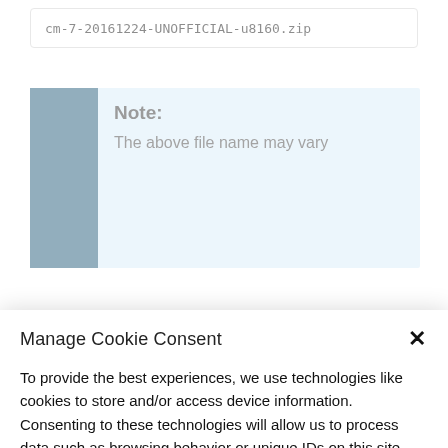cm-7-20161224-UNOFFICIAL-u8160.zip
Note:
The above file name may vary
Manage Cookie Consent
To provide the best experiences, we use technologies like cookies to store and/or access device information. Consenting to these technologies will allow us to process data such as browsing behavior or unique IDs on this site. Not consenting or withdrawing consent, may adversely affect certain features and functions.
Accept
Deny
Cookie Policy   Privacy Policy